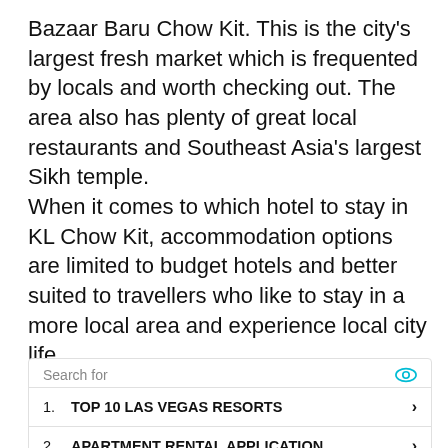Bazaar Baru Chow Kit. This is the city's largest fresh market which is frequented by locals and worth checking out. The area also has plenty of great local restaurants and Southeast Asia's largest Sikh temple.
When it comes to which hotel to stay in KL Chow Kit, accommodation options are limited to budget hotels and better suited to travellers who like to stay in a more local area and experience local city life.
Th...
Search for
1. TOP 10 LAS VEGAS RESORTS ›
2. APARTMENT RENTAL APPLICATION ›